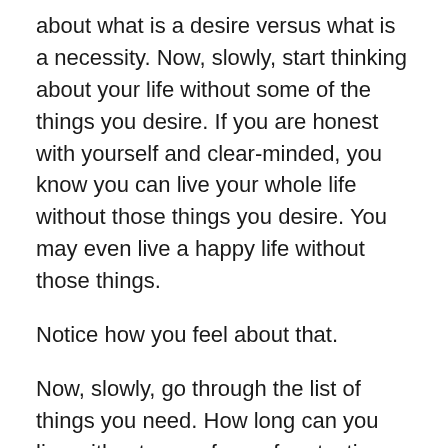about what is a desire versus what is a necessity. Now, slowly, start thinking about your life without some of the things you desire. If you are honest with yourself and clear-minded, you know you can live your whole life without those things you desire. You may even live a happy life without those things.
Notice how you feel about that.
Now, slowly, go through the list of things you need. How long can you live without some form of protection from the elements? (It depends on your environment, climate, and other external factors.) How long can you go without some form of food? (On average, a relatively healthy and well hydrated adult can survive up to two months without food – although extreme symptoms of starvation kick in about 30 days.) How long can you live without water? (A typical